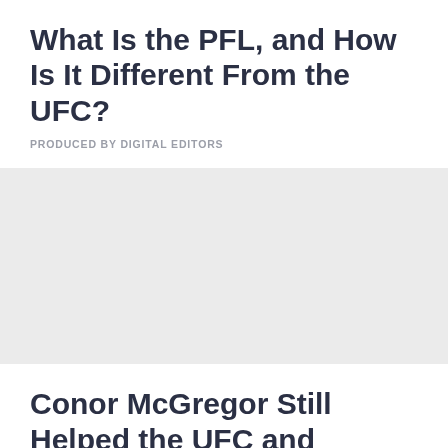What Is the PFL, and How Is It Different From the UFC?
PRODUCED BY DIGITAL EDITORS
[Figure (other): Gray advertisement placeholder block]
Conor McGregor Still Helped the UFC and Endeavor Earn